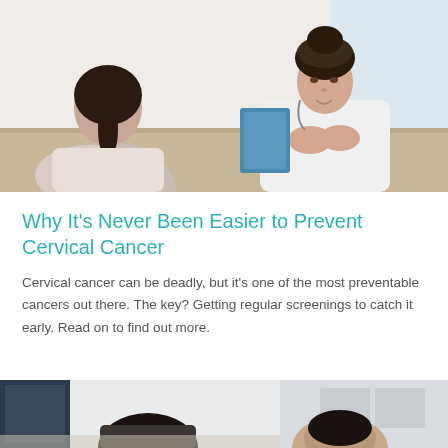[Figure (photo): A female doctor in a white coat sits across from a patient in a clinical setting, engaged in consultation. The doctor has dark hair pulled back and appears to be listening attentively with hands clasped. A tablet is visible on the desk between them.]
Why It's Never Been Easier to Prevent Cervical Cancer
Cervical cancer can be deadly, but it's one of the most preventable cancers out there. The key? Getting regular screenings to catch it early. Read on to find out more.
[Figure (photo): A partial view of two people seated, appearing to be in a medical or office consultation setting. Only the tops of their heads and upper bodies are visible at the bottom of the page.]